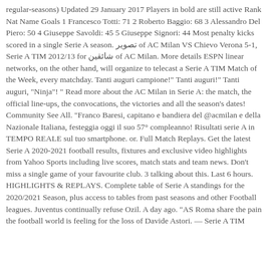regular-seasons) Updated 29 January 2017 Players in bold are still active Rank Nat Name Goals 1 Francesco Totti: 71 2 Roberto Baggio: 68 3 Alessandro Del Piero: 50 4 Giuseppe Savoldi: 45 5 Giuseppe Signori: 44 Most penalty kicks scored in a single Serie A season. تصویر of AC Milan VS Chievo Verona 5-1, Serie A TIM 2012/13 for شائقین of AC Milan. More details ESPN linear networks, on the other hand, will organize to telecast a Serie A TIM Match of the Week, every matchday. Tanti auguri campione!" Tanti auguri!" Tanti auguri, "Ninja"! " Read more about the AC Milan in Serie A: the match, the official line-ups, the convocations, the victories and all the season's dates! Community See All. "Franco Baresi, capitano e bandiera del @acmilan e della Nazionale Italiana, festeggia oggi il suo 57° compleanno! Risultati serie A in TEMPO REALE sul tuo smartphone. or. Full Match Replays. Get the latest Serie A 2020-2021 football results, fixtures and exclusive video highlights from Yahoo Sports including live scores, match stats and team news. Don't miss a single game of your favourite club. 3 talking about this. Last 6 hours. HIGHLIGHTS & REPLAYS. Complete table of Serie A standings for the 2020/2021 Season, plus access to tables from past seasons and other Football leagues. Juventus continually refuse Ozil. A day ago. "AS Roma share the pain the football world is feeling for the loss of Davide Astori. — Serie A TIM (@SerieA_TIM) March 4, 2018 The emotional day was marked by...